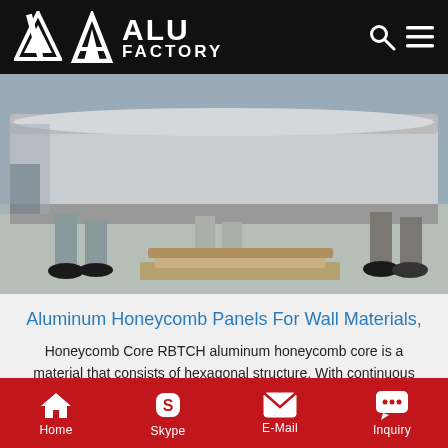ALU FACTORY
[Figure (photo): Workers carrying a large aluminum honeycomb panel in a factory warehouse, viewed from the knees down, showing boots and a concrete floor with pallets]
Aluminum Honeycomb Panels For Wall Materials,
Honeycomb Core RBTCH aluminum honeycomb core is a material that consists of hexagonal structure. With continuous R&D innovation, RBTCH aluminum honeycomb core can be compounded with different upper and lower material which is also called sandwich panel and become very light laminate board with extremely high strength composited panels.
Home  Skype  E-Mail  Inquiry